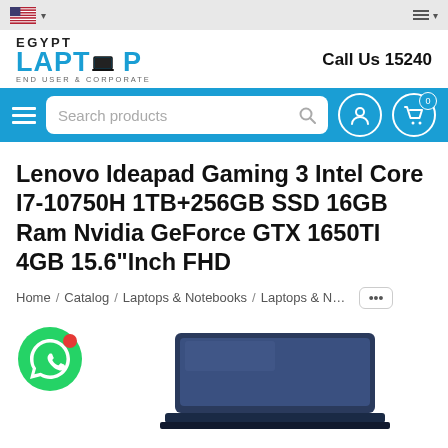US flag / language selector | hamburger menu
[Figure (logo): Egypt Laptop - End User & Corporate logo with blue laptop text]
Call Us 15240
[Figure (screenshot): Navigation bar with hamburger menu, search box 'Search products', user icon, and cart icon with badge 0]
Lenovo Ideapad Gaming 3 Intel Core I7-10750H 1TB+256GB SSD 16GB Ram Nvidia GeForce GTX 1650TI 4GB 15.6"Inch FHD
Home / Catalog / Laptops & Notebooks / Laptops & Notebooks ...
[Figure (photo): WhatsApp chat button (green circle with phone icon and red notification dot) and partial laptop product image at bottom]